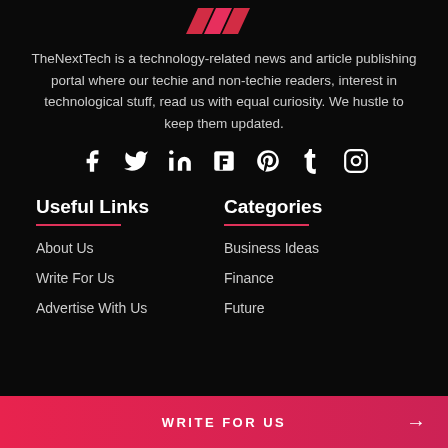[Figure (logo): TheNextTech logo - stylized TNT letters in red/pink on black background]
TheNextTech is a technology-related news and article publishing portal where our techie and non-techie readers, interest in technological stuff, read us with equal curiosity. We hustle to keep them updated.
[Figure (infographic): Social media icons row: Facebook, Twitter, LinkedIn, Flipboard, Pinterest, Tumblr, Instagram]
Useful Links
About Us
Write For Us
Advertise With Us
Categories
Business Ideas
Finance
Future
WRITE FOR US →